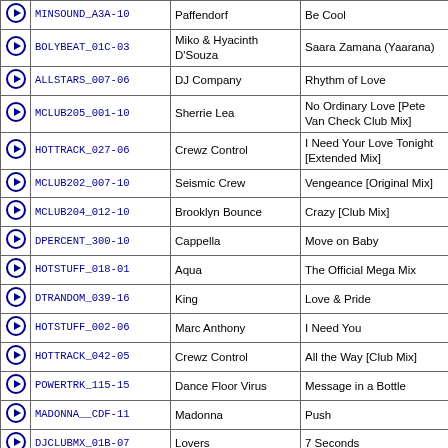|  | Code | Artist | Title |
| --- | --- | --- | --- |
| ▶ | MINSOUND_A3A-10 | Paffendorf | Be Cool |
| ▶ | BOLYBEAT_01C-03 | Miko & Hyacinth D'Souza | Saara Zamana (Yaarana) |
| ▶ | ALLSTARS_007-06 | DJ Company | Rhythm of Love |
| ▶ | MCLUB205_001-10 | Sherrie Lea | No Ordinary Love [Pete Van Check Club Mix] |
| ▶ | HOTTRACK_027-06 | Crewz Control | I Need Your Love Tonight [Extended Mix] |
| ▶ | MCLUB202_007-10 | Seismic Crew | Vengeance [Original Mix] |
| ▶ | MCLUB204_012-10 | Brooklyn Bounce | Crazy [Club Mix] |
| ▶ | DPERCENT_300-10 | Cappella | Move on Baby |
| ▶ | HOTSTUFF_018-01 | Aqua | The Official Mega Mix |
| ▶ | DTRANDOM_039-16 | King | Love & Pride |
| ▶ | HOTSTUFF_002-06 | Marc Anthony | I Need You |
| ▶ | HOTTRACK_042-05 | Crewz Control | All the Way [Club Mix] |
| ▶ | POWERTRK_115-15 | Dance Floor Virus | Message in a Bottle |
| ▶ | MADONNA__CDF-11 | Madonna | Push |
| ▶ | DJCLUBMX_01B-07 | Lovers | 7 Seconds |
| ▶ | RADIO098_07A-15 | 4 the Cause | Stand by Me |
| ▶ | POWERTRK_068-05 | Dr. Alban | It's My Life |
| ▶ | MCLUB098_005-07 | Gloria Estefan | Heaven's What I Feel |
| ▶ | MCLUB099_009-10 | Strike | U Sure Do |
| ▶ | MINSOUND_A3A-18 | Lost Witness | Did I Dream (Song to the Siren) [DJ Tiesto Remix] |